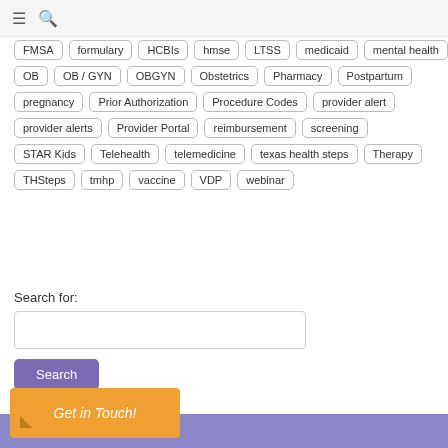≡ 🔍
FMSA | formulary | HCBIs | hmse | LTSS | medicaid | mental health
OB | OB / GYN | OBGYN | Obstetrics | Pharmacy | Postpartum
pregnancy | Prior Authorization | Procedure Codes | provider alert
provider alerts | Provider Portal | reimbursement | screening
STAR Kids | Telehealth | telemedicine | texas health steps | Therapy
THSteps | tmhp | vaccine | VDP | webinar
Search for:
Get in Touch!